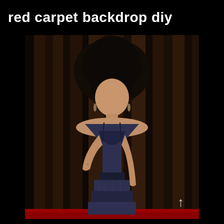red carpet backdrop diy
[Figure (photo): A woman with curly dark hair and bangs wearing a dark navy blue spaghetti-strap tiered dress with lace trim, posing in front of a dark brown draped curtain backdrop, with a red carpet visible at the bottom edge.]